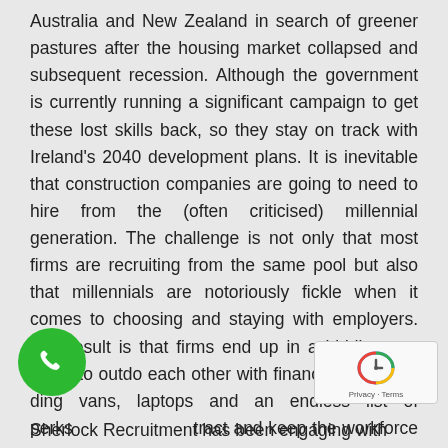Australia and New Zealand in search of greener pastures after the housing market collapsed and subsequent recession. Although the government is currently running a significant campaign to get these lost skills back, so they stay on track with Ireland's 2040 development plans. It is inevitable that construction companies are going to need to hire from the (often criticised) millennial generation. The challenge is not only that most firms are recruiting from the same pool but also that millennials are notoriously fickle when it comes to choosing and staying with employers. The result is that firms end up in a bidding war trying to outdo each other with financial packages, ding vans, laptops and an endless list of perks to tract and keep the workforce needed.

Sherlock Recruitment has been engaging with